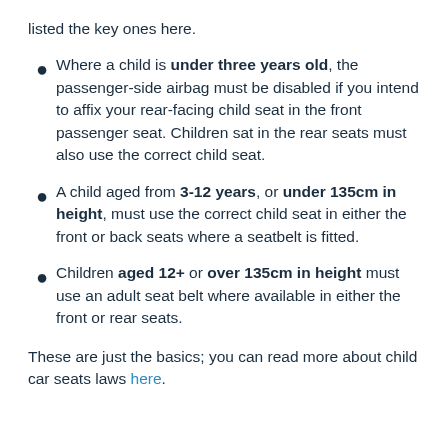listed the key ones here.
Where a child is under three years old, the passenger-side airbag must be disabled if you intend to affix your rear-facing child seat in the front passenger seat. Children sat in the rear seats must also use the correct child seat.
A child aged from 3-12 years, or under 135cm in height, must use the correct child seat in either the front or back seats where a seatbelt is fitted.
Children aged 12+ or over 135cm in height must use an adult seat belt where available in either the front or rear seats.
These are just the basics; you can read more about child car seats laws here.